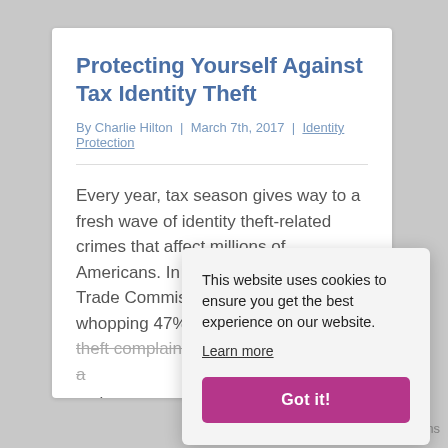Protecting Yourself Against Tax Identity Theft
By Charlie Hilton  |  March 7th, 2017  |  Identity Protection
Every year, tax season gives way to a fresh wave of identity theft-related crimes that affect millions of Americans. In 2015, the U.S. Federal Trade Commission tracked a whopping 47% increase in identity theft complaints. Tax refund fraud was a major… Cha… frau
Read
This website uses cookies to ensure you get the best experience on our website. Learn more
Got it!
ms